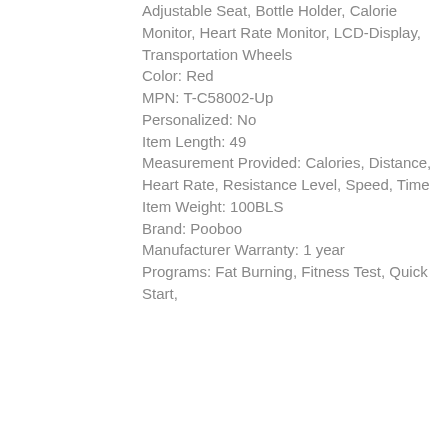Adjustable Seat, Bottle Holder, Calorie Monitor, Heart Rate Monitor, LCD-Display, Transportation Wheels
Color: Red
MPN: T-C58002-Up
Personalized: No
Item Length: 49
Measurement Provided: Calories, Distance, Heart Rate, Resistance Level, Speed, Time
Item Weight: 100BLS
Brand: Pooboo
Manufacturer Warranty: 1 year
Programs: Fat Burning, Fitness Test, Quick Start,